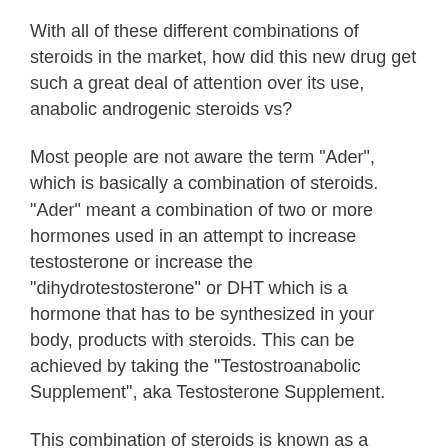With all of these different combinations of steroids in the market, how did this new drug get such a great deal of attention over its use, anabolic androgenic steroids vs?
Most people are not aware the term "Ader", which is basically a combination of steroids. "Ader" meant a combination of two or more hormones used in an attempt to increase testosterone or increase the "dihydrotestosterone" or DHT which is a hormone that has to be synthesized in your body, products with steroids. This can be achieved by taking the "Testostroanabolic Supplement", aka Testosterone Supplement.
This combination of steroids is known as a "derivative of Testosterone" or "Ader" , primobolan winstrol.
The "derivative" of the testosterone is made